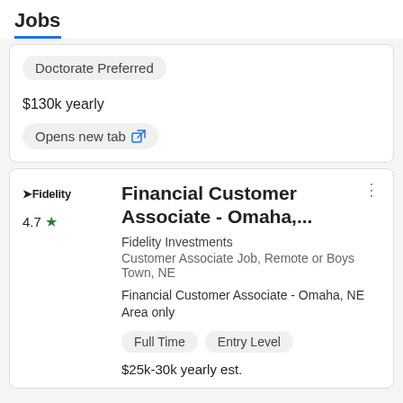Jobs
Doctorate Preferred
$130k yearly
Opens new tab
Financial Customer Associate - Omaha,...
Fidelity Investments
Customer Associate Job, Remote or Boys Town, NE
Financial Customer Associate - Omaha, NE Area only
Full Time
Entry Level
$25k-30k yearly est.